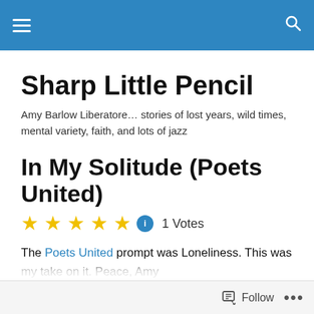Sharp Little Pencil — navigation header bar
Sharp Little Pencil
Amy Barlow Liberatore… stories of lost years, wild times, mental variety, faith, and lots of jazz
In My Solitude (Poets United)
★★★★★ 1 Votes
The Poets United prompt was Loneliness. This was my take on it. Peace, Amy
In My Solitude
Follow